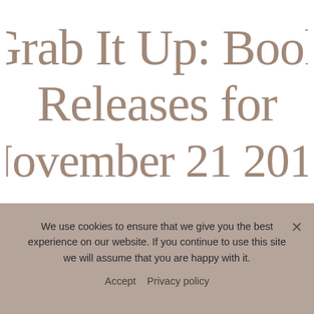Grab It Up: Book Releases for November 21 2017
We use cookies to ensure that we give you the best experience on our website. If you continue to use this site we will assume that you are happy with it.
Accept   Privacy policy